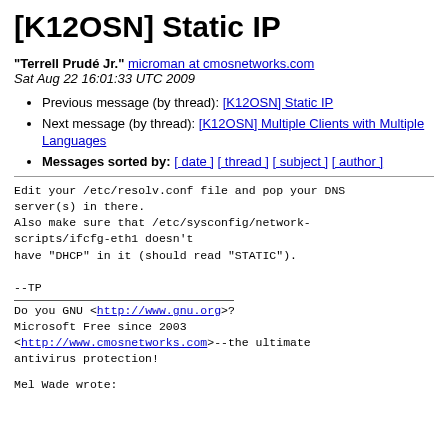[K12OSN] Static IP
"Terrell Prudé Jr." microman at cmosnetworks.com
Sat Aug 22 16:01:33 UTC 2009
Previous message (by thread): [K12OSN] Static IP
Next message (by thread): [K12OSN] Multiple Clients with Multiple Languages
Messages sorted by: [ date ] [ thread ] [ subject ] [ author ]
Edit your /etc/resolv.conf file and pop your DNS server(s) in there.
Also make sure that /etc/sysconfig/network-scripts/ifcfg-eth1 doesn't
have "DHCP" in it (should read "STATIC").

--TP
Do you GNU <http://www.gnu.org>?
Microsoft Free since 2003
<http://www.cmosnetworks.com>--the ultimate antivirus protection!
Mel Wade wrote: